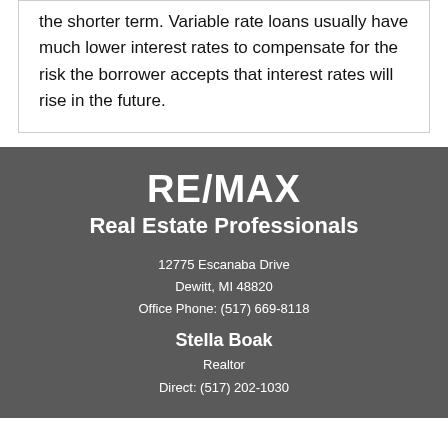the shorter term. Variable rate loans usually have much lower interest rates to compensate for the risk the borrower accepts that interest rates will rise in the future.
RE/MAX
Real Estate Professionals
12775 Escanaba Drive
Dewitt, MI 48820
Office Phone: (517) 669-8118
Stella Boak
Realtor
Direct: (517) 202-1030